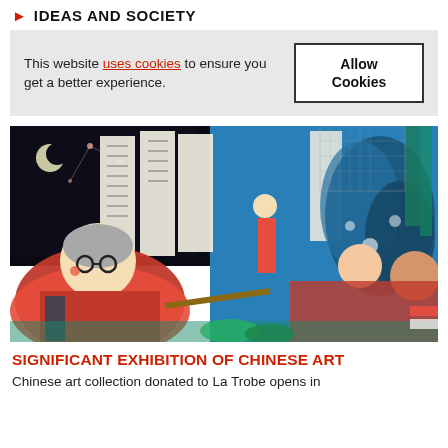IDEAS AND SOCIETY
This website uses cookies to ensure you get a better experience.
[Figure (photo): Colorful Chinese art painting featuring stylized figures in red garments, Chinese calligraphic text panels, blue decorative elements, bamboo, and a night sky with a crescent moon]
SIGNIFICANT EXHIBITION OF CHINESE ART
Chinese art collection donated to La Trobe opens in